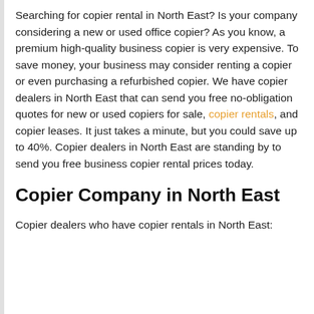Searching for copier rental in North East? Is your company considering a new or used office copier? As you know, a premium high-quality business copier is very expensive. To save money, your business may consider renting a copier or even purchasing a refurbished copier. We have copier dealers in North East that can send you free no-obligation quotes for new or used copiers for sale, copier rentals, and copier leases. It just takes a minute, but you could save up to 40%. Copier dealers in North East are standing by to send you free business copier rental prices today.
Copier Company in North East
Copier dealers who have copier rentals in North East: